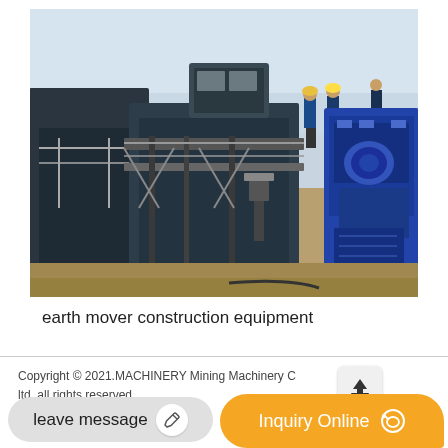[Figure (photo): Industrial mining or construction site showing large dark metal tanks/machinery with metal railings and walkways. Workers visible on the equipment. A large blue machine component visible on the right side. Sandy ground and hazy sky in background.]
earth mover construction equipment
Copyright © 2021.MACHINERY Mining Machinery Co ltd. all rights reserved. sitemap